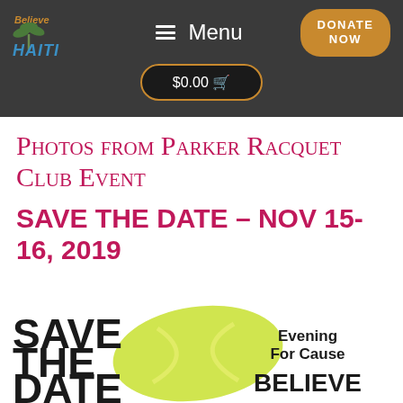Believe in HAITI | Menu | DONATE NOW | $0.00
Photos from Parker Racquet Club Event
SAVE THE DATE – NOV 15-16, 2019
[Figure (infographic): Save The Date flyer with yellow tennis ball brush stroke. Left side: 'SAVE THE DATE' in large bold black text. Center: yellow-green paint brush stroke with tennis ball arc. Right side: 'Evening For Cause' in bold black, and 'BELIEVE' in large bold black letters.]